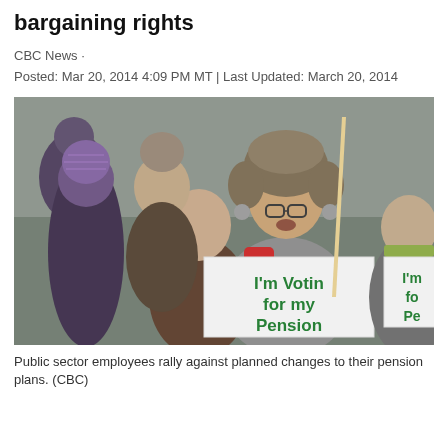bargaining rights
CBC News ·
Posted: Mar 20, 2014 4:09 PM MT | Last Updated: March 20, 2014
[Figure (photo): Public sector employees rally outdoors in winter weather. A man in the centre wears a fur hat, glasses, a red and grey jacket, and holds a white sign with green text reading 'I'm Voting for my Pension'. A partially visible sign on the right also reads 'I'm fo Pe'. Other protesters are visible around him including a person in a purple knit hat on the left.]
Public sector employees rally against planned changes to their pension plans. (CBC)